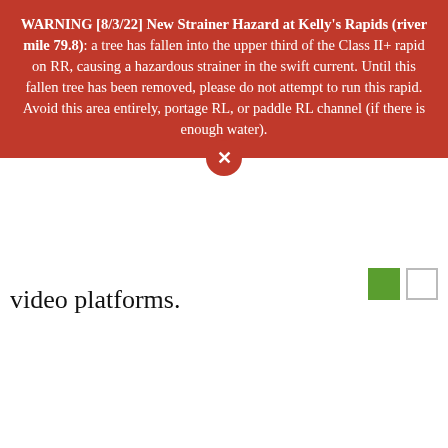WARNING [8/3/22] New Strainer Hazard at Kelly's Rapids (river mile 79.8): a tree has fallen into the upper third of the Class II+ rapid on RR, causing a hazardous strainer in the swift current. Until this fallen tree has been removed, please do not attempt to run this rapid. Avoid this area entirely, portage RL, or paddle RL channel (if there is enough water).
video platforms.